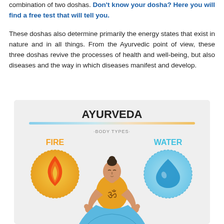combination of two doshas. Don't know your dosha? Here you will find a free test that will tell you.
These doshas also determine primarily the energy states that exist in nature and in all things. From the Ayurvedic point of view, these three doshas revive the processes of health and well-being, but also diseases and the way in which diseases manifest and develop.
[Figure (infographic): Ayurveda body types infographic showing a woman meditating in lotus pose with Om symbol on shirt, flanked by a fire circle (labeled FIRE in orange) on the left and a water droplet circle (labeled WATER in cyan) on the right, with a gradient bar and 'BODY TYPES' subtitle under the title 'AYURVEDA'.]